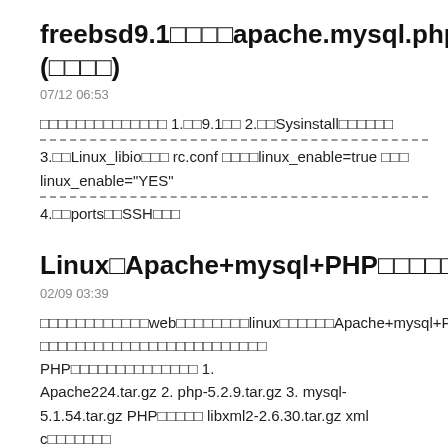freebsd9.1□□□□apache.mysql.php□□(□□□□)
07/12 06:53
□□□□□□□□□□□□□□ 1.□□9.1□□ 2.□□Sysinstall□□□□□□
3.□□Linux_libio□□□ rc.conf □□□□linux_enable=true □□□ linux_enable="YES"
4.□□ports□□SSH□□□
Linux□Apache+mysql+PHP□□□□□□□□
02/09 03:39
□□□□□□□□□□□□web□□□□□□□□linux□□□□□□Apache+mysql+PHP□□□□□□□□□□□□□□□□□□□□□□□□□ PHP□□□□□□□□□□□□□□ 1. Apache224.tar.gz 2. php-5.2.9.tar.gz 3. mysql-5.1.54.tar.gz PHP□□□□□□ libxml2-2.6.30.tar.gz xml c□□□□□□□ libmcrypt-2.5.8.tar.gz □□□□□□□ zlib-1